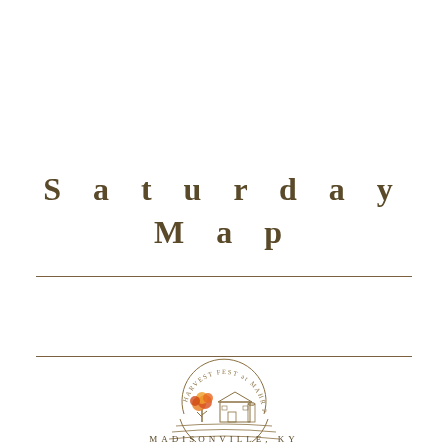Saturday Map
[Figure (logo): Harvest Fest at Mahr Park circular logo with an autumn tree and barn illustration, with curved text reading HARVEST FEST at MAHR PARK around the top]
MADISONVILLE, KY